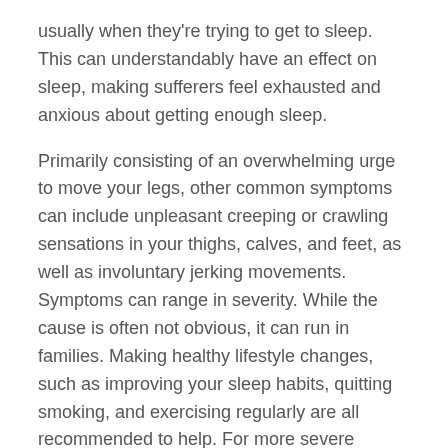usually when they're trying to get to sleep. This can understandably have an effect on sleep, making sufferers feel exhausted and anxious about getting enough sleep.
Primarily consisting of an overwhelming urge to move your legs, other common symptoms can include unpleasant creeping or crawling sensations in your thighs, calves, and feet, as well as involuntary jerking movements. Symptoms can range in severity. While the cause is often not obvious, it can run in families. Making healthy lifestyle changes, such as improving your sleep habits, quitting smoking, and exercising regularly are all recommended to help. For more severe cases, your GP may recommend medication or iron supplements.
Sleepwalking